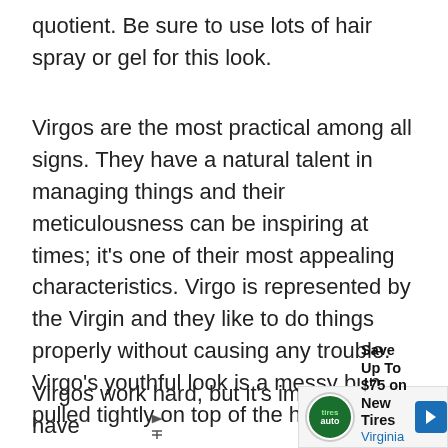quotient. Be sure to use lots of hair spray or gel for this look.
Virgos are the most practical among all signs. They have a natural talent in managing things and their meticulousness can be inspiring at times; it’s one of their most appealing characteristics. Virgo is represented by the Virgin and they like to do things properly without causing any trouble. Virgo’s youthful look is a messy bun pulled tightly on top of the head.
Virgos work hard, but it’s important to have
[Figure (other): Advertisement banner: Save Up To $75 on New Tires - Virginia Tire & Auto of Ashburn, with tire auto logo and blue direction arrow icon]